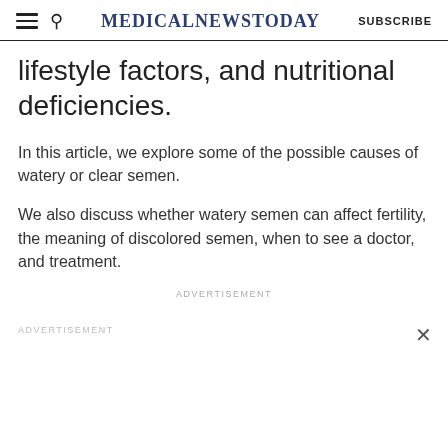MedicalNewsToday | SUBSCRIBE
lifestyle factors, and nutritional deficiencies.
In this article, we explore some of the possible causes of watery or clear semen.
We also discuss whether watery semen can affect fertility, the meaning of discolored semen, when to see a doctor, and treatment.
ADVERTISEMENT
ADVERTISEMENT